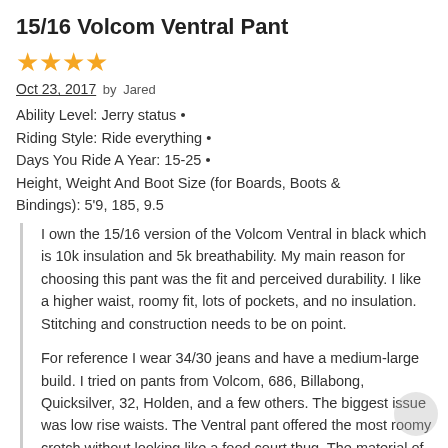15/16 Volcom Ventral Pant
[Figure (other): Four gold/orange star rating icons]
Oct 23, 2017 by Jared
Ability Level: Jerry status • Riding Style: Ride everything • Days You Ride A Year: 15-25 • Height, Weight And Boot Size (for Boards, Boots & Bindings): 5'9, 185, 9.5
I own the 15/16 version of the Volcom Ventral in black which is 10k insulation and 5k breathability. My main reason for choosing this pant was the fit and perceived durability. I like a higher waist, roomy fit, lots of pockets, and no insulation. Stitching and construction needs to be on point.
For reference I wear 34/30 jeans and have a medium-large build. I tried on pants from Volcom, 686, Billabong, Quicksilver, 32, Holden, and a few others. The biggest issue was low rise waists. The Ventral pant offered the most roomy crotch without looking like a food court thug. The material of other brands often felt cheap, like tent fabric. Volcom's offerings had much more structure and would hold up to a higher level...